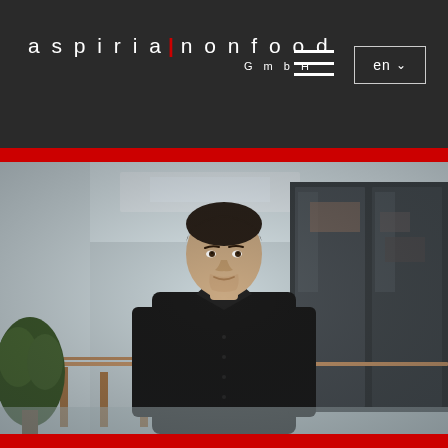aspiria | nonfood GmbH — navigation header with hamburger menu and language selector (en)
[Figure (photo): Professional portrait photo of a man in a black shirt standing in a modern office atrium with stairs, wooden handrails, green plants, and glass-walled meeting rooms in the background. The photo is in colour with soft, bright lighting.]